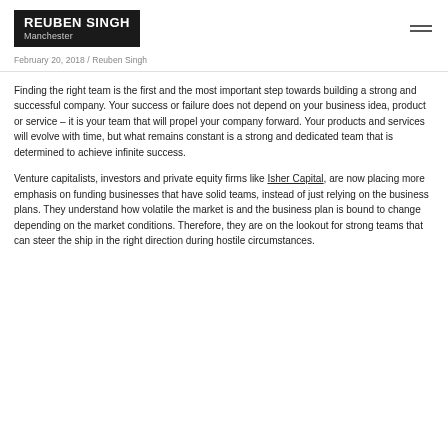REUBEN SINGH Manchester
February 20, 2018 / Reuben Singh
Finding the right team is the first and the most important step towards building a strong and successful company. Your success or failure does not depend on your business idea, product or service – it is your team that will propel your company forward. Your products and services will evolve with time, but what remains constant is a strong and dedicated team that is determined to achieve infinite success.
Venture capitalists, investors and private equity firms like Isher Capital, are now placing more emphasis on funding businesses that have solid teams, instead of just relying on the business plans. They understand how volatile the market is and the business plan is bound to change depending on the market conditions. Therefore, they are on the lookout for strong teams that can steer the ship in the right direction during hostile circumstances.